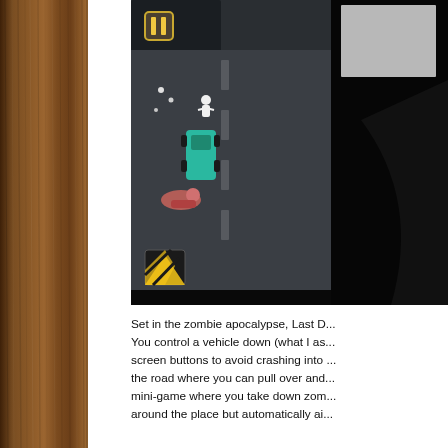[Figure (screenshot): Screenshot of a mobile game set in a zombie apocalypse, showing a top-down view of a vehicle on a road with zombie characters. The interface shows a pause button (two vertical bars) in the top-left of the game screen, a yellow/black warning chevron at the bottom, and various game elements including teal/green vehicle, figure characters, and a dark background environment.]
Set in the zombie apocalypse, Last D... You control a vehicle down (what I as... screen buttons to avoid crashing into ... the road where you can pull over and... mini-game where you take down zom... around the place but automatically ai...